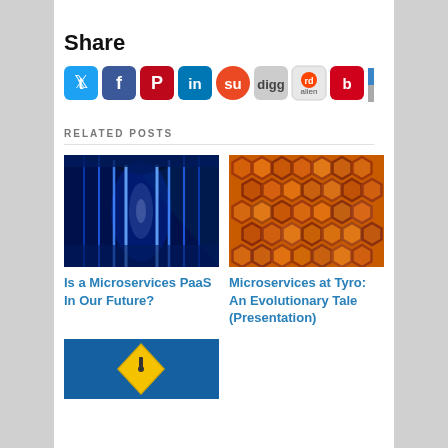Share
[Figure (infographic): Row of social media sharing icons: Twitter, Facebook, Pinterest, LinkedIn, StumbleUpon, Digg, Reddit, Bebo, Delicious, Email]
RELATED POSTS
[Figure (photo): Data center corridor with blue glowing server racks]
Is a Microservices PaaS In Our Future?
[Figure (photo): Close-up macro photo of honeycomb cells in orange/amber color]
Microservices at Tyro: An Evolutionary Tale (Presentation)
[Figure (photo): Partial view of a third related post image with blue background and yellow diamond shape]